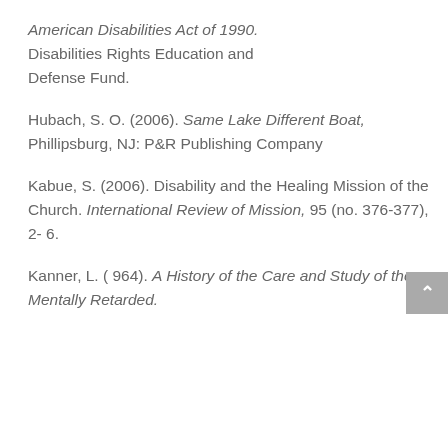American Disabilities Act of 1990. Disabilities Rights Education and Defense Fund.
Hubach, S. O. (2006). Same Lake Different Boat, Phillipsburg, NJ: P&R Publishing Company
Kabue, S. (2006). Disability and the Healing Mission of the Church. International Review of Mission, 95 (no. 376-377), 2- 6.
Kanner, L. ( 964). A History of the Care and Study of the Mentally Retarded.